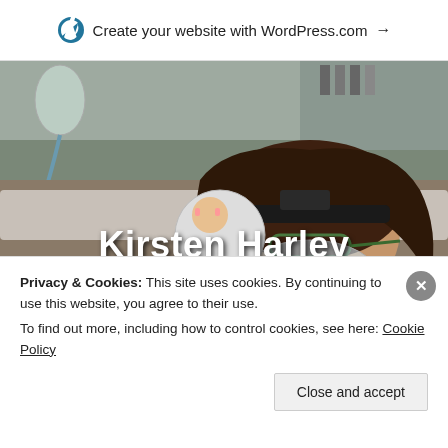Create your website with WordPress.com →
[Figure (photo): Woman lying in a hospital bed wearing green-framed glasses and a respiratory mask with medical equipment visible, holding a small stuffed toy/doll. Hospital ICU setting with IV bags and medical monitoring equipment in background.]
Kirsten Harley
Living with MND
Privacy & Cookies: This site uses cookies. By continuing to use this website, you agree to their use.
To find out more, including how to control cookies, see here: Cookie Policy
Close and accept